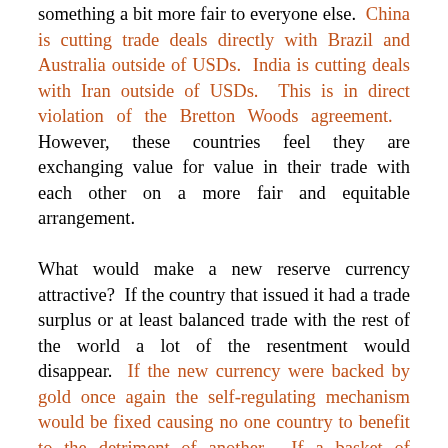something a bit more fair to everyone else. China is cutting trade deals directly with Brazil and Australia outside of USDs. India is cutting deals with Iran outside of USDs. This is in direct violation of the Bretton Woods agreement. However, these countries feel they are exchanging value for value in their trade with each other on a more fair and equitable arrangement. What would make a new reserve currency attractive? If the country that issued it had a trade surplus or at least balanced trade with the rest of the world a lot of the resentment would disappear. If the new currency were backed by gold once again the self-regulating mechanism would be fixed causing no one country to benefit to the detriment of another. If a basket of currencies were used from several strong countries with both of these attributes then even better. Rumor has it that Russia and China have both been working hard to build on their problems...